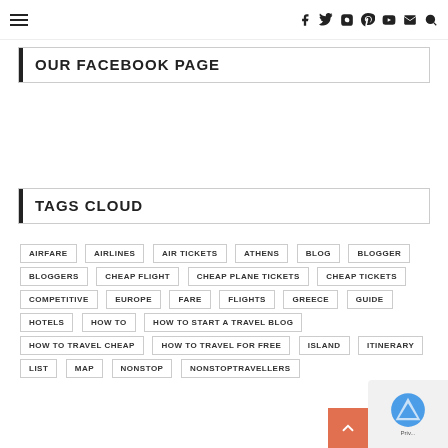≡   f  twitter  instagram  pinterest  youtube  mail  search
OUR FACEBOOK PAGE
TAGS CLOUD
AIRFARE
AIRLINES
AIR TICKETS
ATHENS
BLOG
BLOGGER
BLOGGERS
CHEAP FLIGHT
CHEAP PLANE TICKETS
CHEAP TICKETS
COMPETITIVE
EUROPE
FARE
FLIGHTS
GREECE
GUIDE
HOTELS
HOW TO
HOW TO START A TRAVEL BLOG
HOW TO TRAVEL CHEAP
HOW TO TRAVEL FOR FREE
ISLAND
ITINERARY
LIST
MAP
NONSTOP
NONSTOPTRAVELLERS